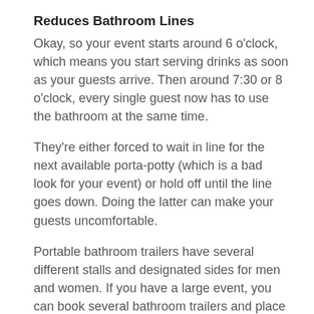Reduces Bathroom Lines
Okay, so your event starts around 6 o’clock, which means you start serving drinks as soon as your guests arrive. Then around 7:30 or 8 o’clock, every single guest now has to use the bathroom at the same time.
They’re either forced to wait in line for the next available porta-potty (which is a bad look for your event) or hold off until the line goes down. Doing the latter can make your guests uncomfortable.
Portable bathroom trailers have several different stalls and designated sides for men and women. If you have a large event, you can book several bathroom trailers and place them all side by side, giving the impression of no line at all.